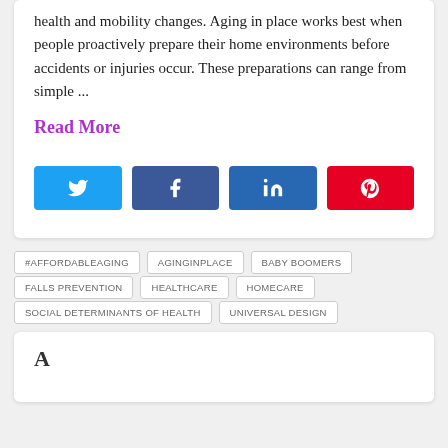health and mobility changes. Aging in place works best when people proactively prepare their home environments before accidents or injuries occur. These preparations can range from simple ...
Read More
[Figure (other): Social sharing buttons: Twitter (light blue), Facebook (dark blue), LinkedIn (dark blue), Pinterest (red)]
#AFFORDABLEAGING
AGINGINPLACE
BABY BOOMERS
FALLS PREVENTION
HEALTHCARE
HOMECARE
SOCIAL DETERMINANTS OF HEALTH
UNIVERSAL DESIGN